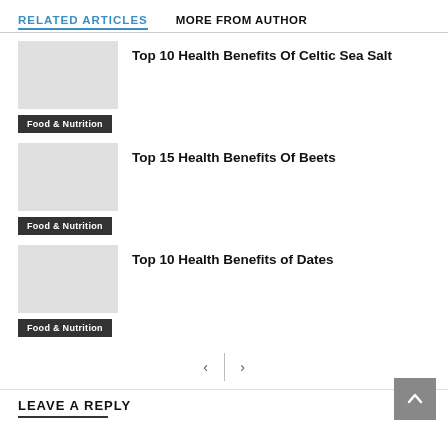RELATED ARTICLES
MORE FROM AUTHOR
Top 10 Health Benefits Of Celtic Sea Salt
Food & Nutrition
Top 15 Health Benefits Of Beets
Food & Nutrition
Top 10 Health Benefits of Dates
Food & Nutrition
LEAVE A REPLY